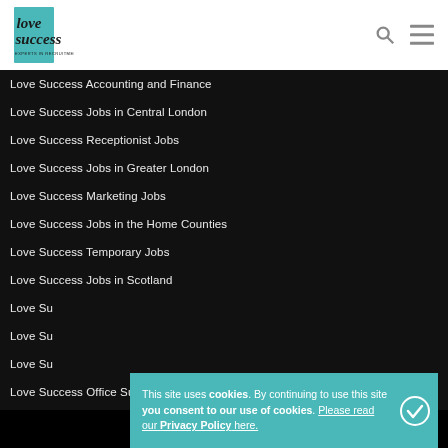Love Success — Experts in Recruitment
Love Success Accounting and Finance
Love Success Jobs in Central London
Love Success Receptionist Jobs
Love Success Jobs in Greater London
Love Success Marketing Jobs
Love Success Jobs in the Home Counties
Love Success Temporary Jobs
Love Success Jobs in Scotland
Love Su[ccess Jobs in Ireland]
Love Su[ccess Jobs in Ireland]
Love Su[ccess IR]
Love Success Office Support Jobs in London
This site uses cookies. By continuing to use this site you consent to our use of cookies. Please read our Privacy Policy here.